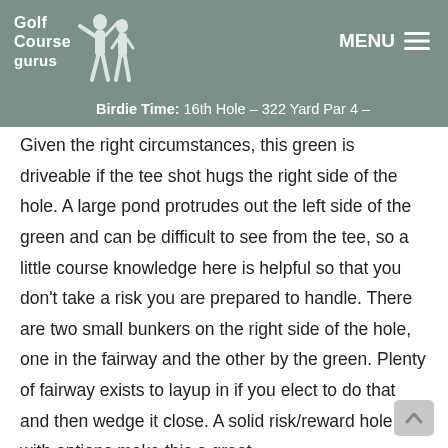Golf Course gurus — MENU
Birdie Time: 16th Hole – 322 Yard Par 4 –
Given the right circumstances, this green is driveable if the tee shot hugs the right side of the hole. A large pond protrudes out the left side of the green and can be difficult to see from the tee, so a little course knowledge here is helpful so that you don't take a risk you are prepared to handle. There are two small bunkers on the right side of the hole, one in the fairway and the other by the green. Plenty of fairway exists to layup in if you elect to do that and then wedge it close. A solid risk/reward hole with options make this a great